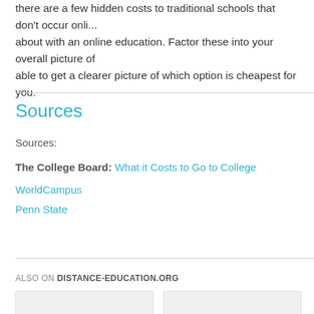there are a few hidden costs to traditional schools that don't occur online about with an online education. Factor these into your overall picture of able to get a clearer picture of which option is cheapest for you.
Sources
Sources:
The College Board: What it Costs to Go to College
WorldCampus
Penn State
ALSO ON DISTANCE-EDUCATION.ORG